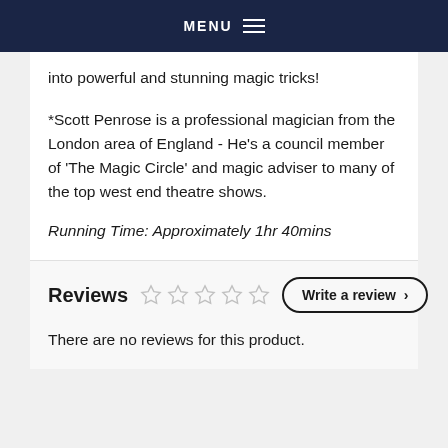MENU
into powerful and stunning magic tricks!
*Scott Penrose is a professional magician from the London area of England - He's a council member of 'The Magic Circle' and magic adviser to many of the top west end theatre shows.
Running Time: Approximately 1hr 40mins
Reviews
There are no reviews for this product.